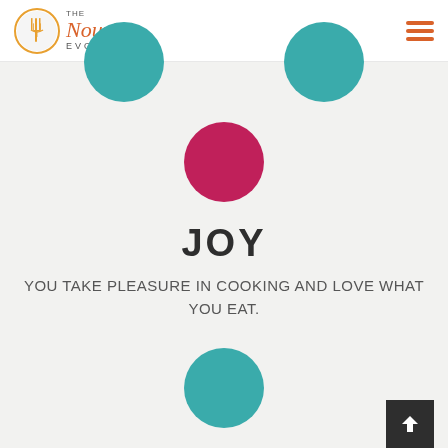The Nourish Evolution
[Figure (illustration): Crimson/pink circle icon representing Joy section]
JOY
YOU TAKE PLEASURE IN COOKING AND LOVE WHAT YOU EAT.
[Figure (illustration): Teal circle icon representing Health section]
HEALTH
THE WAY YOU EAT KEEPS YOU HEALTHY AND AT A COMFORTABLE WEIGHT WITHOUT...